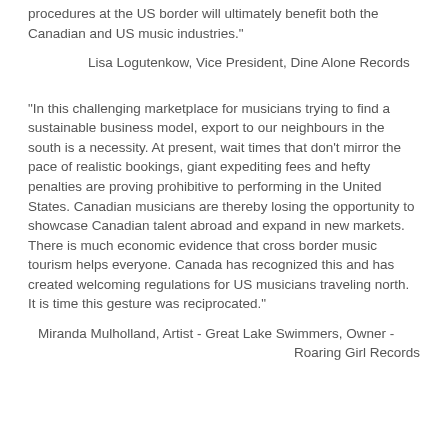procedures at the US border will ultimately benefit both the Canadian and US music industries."
Lisa Logutenkow, Vice President, Dine Alone Records
"In this challenging marketplace for musicians trying to find a sustainable business model, export to our neighbours in the south is a necessity. At present, wait times that don't mirror the pace of realistic bookings, giant expediting fees and hefty penalties are proving prohibitive to performing in the United States. Canadian musicians are thereby losing the opportunity to showcase Canadian talent abroad and expand in new markets. There is much economic evidence that cross border music tourism helps everyone. Canada has recognized this and has created welcoming regulations for US musicians traveling north. It is time this gesture was reciprocated."
Miranda Mulholland, Artist - Great Lake Swimmers, Owner - Roaring Girl Records